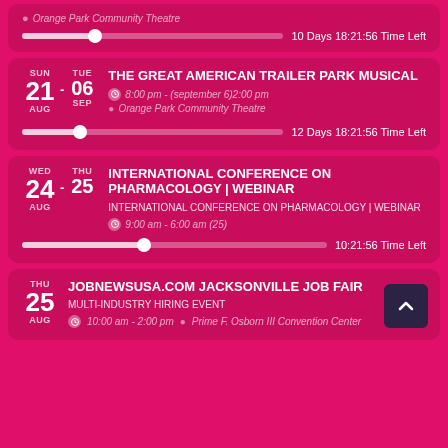Orange Park Community Theatre | 10 Days 18:21:56 Time Left
THE GREAT AMERICAN TRAILER PARK MUSICAL | SUN 21 AUG - TUE 06 SEP | 8:00 pm - (september 6)2:00 pm | Orange Park Community Theatre | 12 Days 18:21:56 Time Left
INTERNATIONAL CONFERENCE ON PHARMACOLOGY | WEBINAR | WED 24 AUG - THU 25 AUG | 9:00 am - 6:00 am (25) | 10:21:56 Time Left
JOBNEWSUSA.COM JACKSONVILLE JOB FAIR | MULTI-INDUSTRY HIRING EVENT | THU 25 AUG | 10:00 am - 2:00 pm | Prime F. Osborn III Convention Center